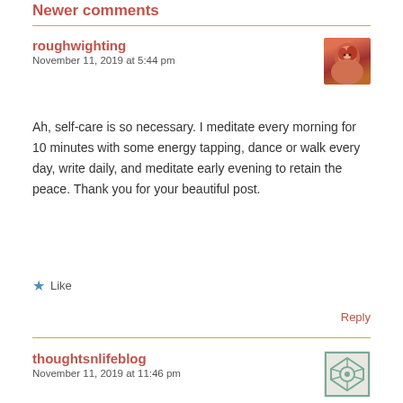Newer comments
roughwighting
November 11, 2019 at 5:44 pm
Ah, self-care is so necessary. I meditate every morning for 10 minutes with some energy tapping, dance or walk every day, write daily, and meditate early evening to retain the peace. Thank you for your beautiful post.
Like
Reply
thoughtsnlifeblog
November 11, 2019 at 11:46 pm